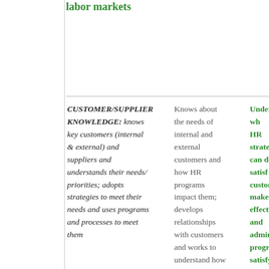labor markets
| Competency | Level 1 | Level 2 |
| --- | --- | --- |
| CUSTOMER/SUPPLIER KNOWLEDGE: knows key customers (internal & external) and suppliers and understands their needs/ priorities; adopts strategies to meet their needs and uses programs and processes to meet them | Knows about the needs of internal and external customers and how HR programs impact them; develops relationships with customers and works to understand how HR... | Understands wh HR strategies/prog can do to satisf customers and make them effective; desig and administer programs that satisfy custome needs while ens they are cost-effective |